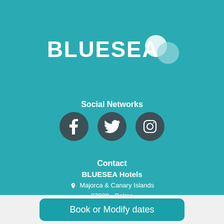Relax in Fuerteventura
From 126 €
[Figure (logo): BLUESEA Hotels logo with text BLUESEA and two overlapping circle shapes in white]
Social Networks
[Figure (infographic): Three dark circular social media icons: Facebook, Twitter, Instagram]
Contact
BLUESEA Hotels
📍 Majorca & Canary Islands
07009 - Palma
📞 Telephone: +34 911790086
✉ Email: holidays@blueseahotels.net
Book or Modify dates